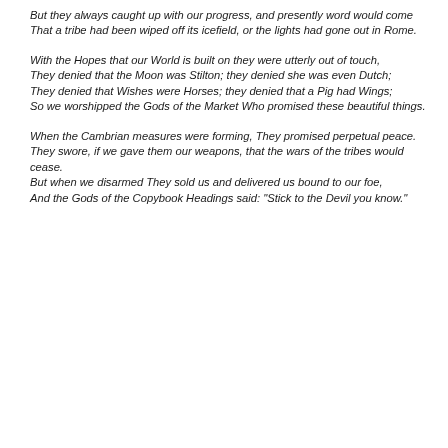But they always caught up with our progress, and presently word would come
That a tribe had been wiped off its icefield, or the lights had gone out in Rome.
With the Hopes that our World is built on they were utterly out of touch,
They denied that the Moon was Stilton; they denied she was even Dutch;
They denied that Wishes were Horses; they denied that a Pig had Wings;
So we worshipped the Gods of the Market Who promised these beautiful things.
When the Cambrian measures were forming, They promised perpetual peace.
They swore, if we gave them our weapons, that the wars of the tribes would cease.
But when we disarmed They sold us and delivered us bound to our foe,
And the Gods of the Copybook Headings said: "Stick to the Devil you know."